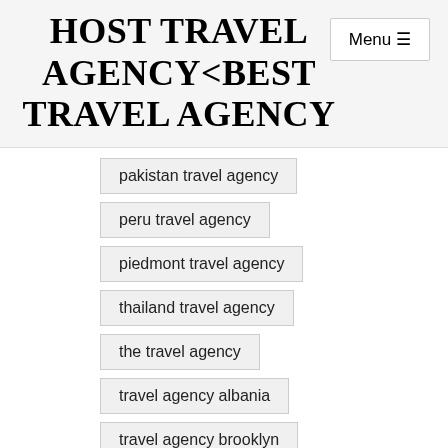HOST TRAVEL AGENCY<BEST TRAVEL AGENCY
pakistan travel agency
peru travel agency
piedmont travel agency
thailand travel agency
the travel agency
travel agency albania
travel agency brooklyn
travel agency company
travel agency destinations (partial)